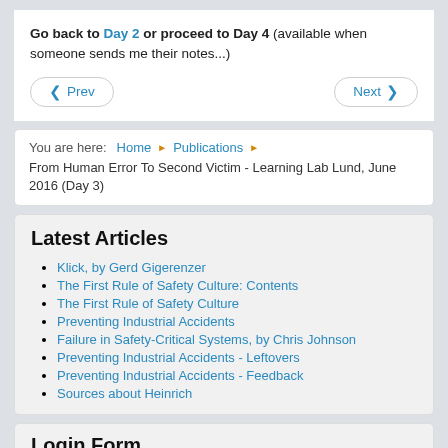Go back to Day 2 or proceed to Day 4 (available when someone sends me their notes...)
Prev   Next
You are here:  Home  ▶  Publications  ▶  From Human Error To Second Victim - Learning Lab Lund, June 2016 (Day 3)
Latest Articles
Klick, by Gerd Gigerenzer
The First Rule of Safety Culture: Contents
The First Rule of Safety Culture
Preventing Industrial Accidents
Failure in Safety-Critical Systems, by Chris Johnson
Preventing Industrial Accidents - Leftovers
Preventing Industrial Accidents - Feedback
Sources about Heinrich
Login Form